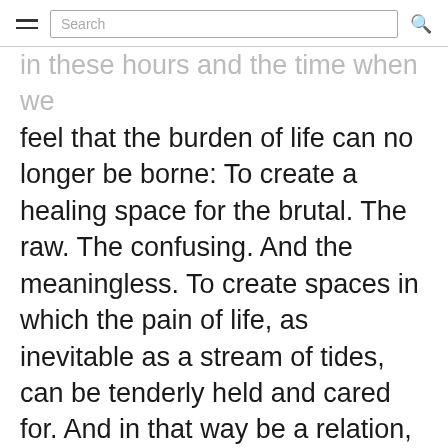Search
feel that the burden of life can no longer be borne: To create a healing space for the brutal. The raw. The confusing. And the meaningless. To create spaces in which the pain of life, as inevitable as a stream of tides, can be tenderly held and cared for. And in that way be a relation,  an existential fellow-traveler-in-the-same-darkness that furnishes conditions for the possibilities of healing power, of re-creating a trust in life, to help them want to live. Again.
In this way, healthcare professionals